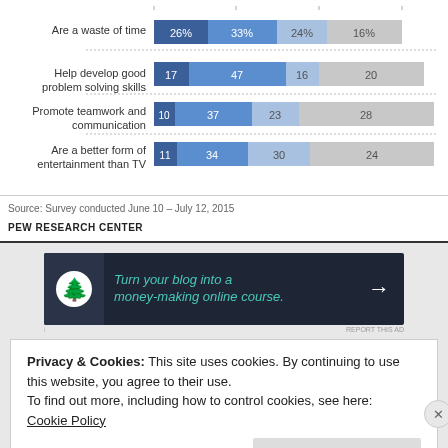[Figure (stacked-bar-chart): Video games...]
Source: Survey conducted June 10 – July 12, 2015
PEW RESEARCH CENTER
[Figure (infographic): Advertisement banner: Turn your blog into a money-making online course with arrow]
Privacy & Cookies: This site uses cookies. By continuing to use this website, you agree to their use.
To find out more, including how to control cookies, see here: Cookie Policy
Close and accept